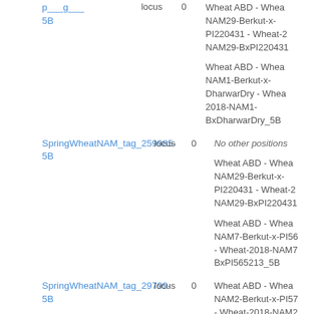SpringWheatNAM_tag_...-5B | locus | 0 | Wheat ABD - Wheat NAM29-Berkut-x-PI220431 - Wheat-2018-NAM29-BxPI220431
Wheat ABD - Wheat NAM1-Berkut-x-DharwarDry - Wheat-2018-NAM1-BxDharwarDry_5B
SpringWheatNAM_tag_259985-5B | locus | 0 | No other positions
Wheat ABD - Wheat NAM29-Berkut-x-PI220431 - Wheat-2018-NAM29-BxPI220431
Wheat ABD - Wheat NAM7-Berkut-x-PI565213 - Wheat-2018-NAM7-BxPI565213_5B
SpringWheatNAM_tag_29799-5B | locus | 0 | Wheat ABD - Wheat NAM2-Berkut-x-PI572692 - Wheat-2018-NAM2-BxPI572692_5B
Wheat ABD - Wheat NAM27-Berkut-x-PI192569 - Wheat-2018-...